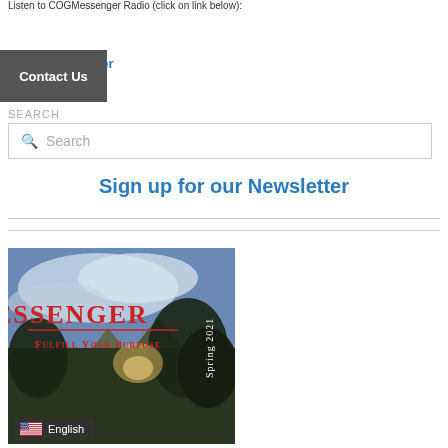Listen to COGMessenger Radio (click on link below):
COGMessenger Radio
Contact Us
SEARCH
Search
Sign up for our Newsletter
[Figure (photo): Cover of the Messenger magazine Spring 2021 issue, showing an outdoor landscape with mountains and trees, with the title MESSENGER in red text and subtitle FULFILL YOUR PURPOSE and Spring 2021 on the right side.]